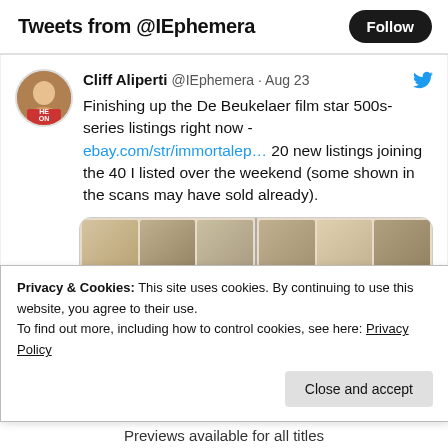Tweets from @IEphemera
Cliff Aliperti @IEphemera · Aug 23
Finishing up the De Beukelaer film star 500s-series listings right now - ebay.com/str/immortalep… 20 new listings joining the 40 I listed over the weekend (some shown in the scans may have sold already).
[Figure (photo): Grid of vintage film star photo card thumbnails arranged in two columns of three rows each]
Privacy & Cookies: This site uses cookies. By continuing to use this website, you agree to their use.
To find out more, including how to control cookies, see here: Privacy Policy
Close and accept
Previews available for all titles